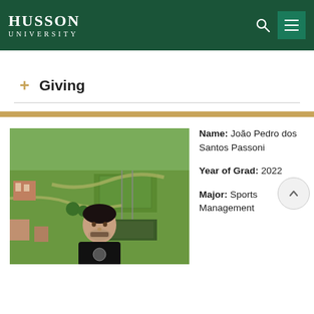HUSSON UNIVERSITY
+ Giving
[Figure (photo): Student profile photo of João Pedro dos Santos Passoni in front of aerial campus view of Husson University]
Name: João Pedro dos Santos Passoni
Year of Grad: 2022
Major: Sports Management